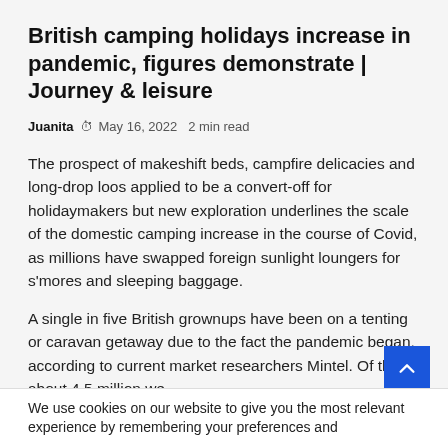British camping holidays increase in pandemic, figures demonstrate | Journey & leisure
Juanita  May 16, 2022  2 min read
The prospect of makeshift beds, campfire delicacies and long-drop loos applied to be a convert-off for holidaymakers but new exploration underlines the scale of the domestic camping increase in the course of Covid, as millions have swapped foreign sunlight loungers for s'mores and sleeping baggage.
A single in five British grownups have been on a tenting or caravan getaway due to the fact the pandemic began, according to current market researchers Mintel. Of these about 4.5 million we
We use cookies on our website to give you the most relevant experience by remembering your preferences and